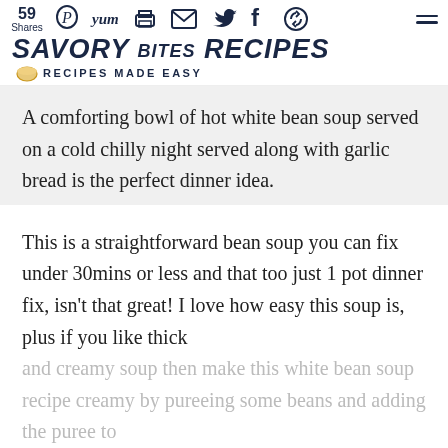59 Shares | Savory Bites Recipes — Recipes Made Easy
A comforting bowl of hot white bean soup served on a cold chilly night served along with garlic bread is the perfect dinner idea.
This is a straightforward bean soup you can fix under 30mins or less and that too just 1 pot dinner fix, isn't that great! I love how easy this soup is, plus if you like thick and creamy soup then make this white bean soup recipe creamy by pureeing some beans and adding the puree to